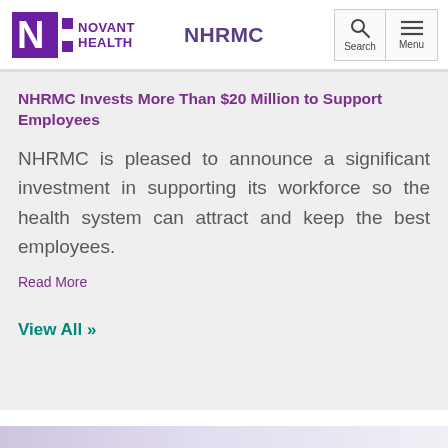Novant Health NHRMC
NHRMC Invests More Than $20 Million to Support Employees
NHRMC is pleased to announce a significant investment in supporting its workforce so the health system can attract and keep the best employees.
Read More
View All »